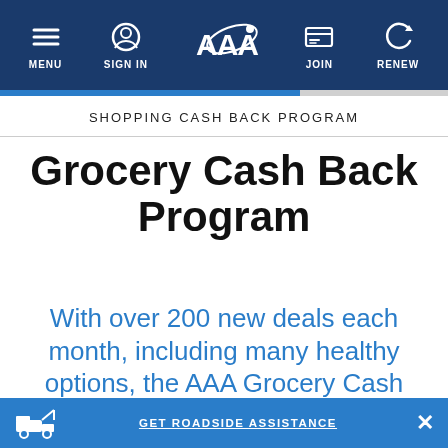[Figure (screenshot): AAA website top navigation bar with dark blue background showing hamburger menu icon labeled MENU, person icon labeled SIGN IN, AAA logo (triple-A with orbit ring) in center, membership card icon labeled JOIN, and refresh icon labeled RENEW]
SHOPPING CASH BACK PROGRAM
Grocery Cash Back Program
With over 200 new deals each month, including many healthy options, the AAA Grocery Cash Back Program makes it easier than ever to earn cash back on
GET ROADSIDE ASSISTANCE